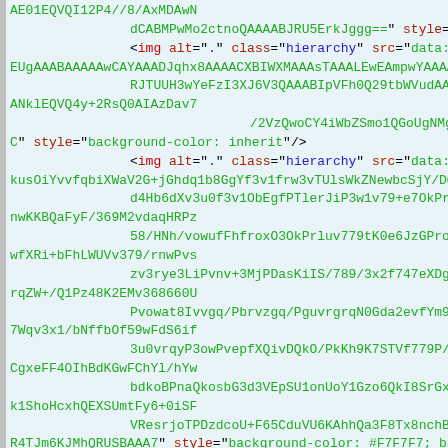Code/HTML snippet showing base64 encoded image data and HTML attributes in a source code viewer